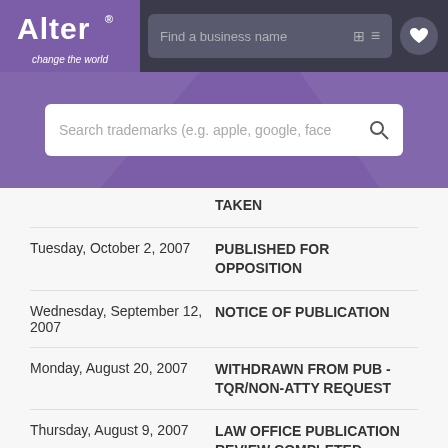[Figure (screenshot): Alter trademark search website header with purple logo box showing 'Alter change the world' and a 'Find a business name' search bar with filter and heart icons on dark background]
[Figure (screenshot): Purple banner with 'Search trademarks (e.g. apple, google, face' search box with magnifying glass icon]
| Date | Status |
| --- | --- |
|  | TAKEN |
| Tuesday, October 2, 2007 | PUBLISHED FOR OPPOSITION |
| Wednesday, September 12, 2007 | NOTICE OF PUBLICATION |
| Monday, August 20, 2007 | WITHDRAWN FROM PUB - TQR/NON-ATTY REQUEST |
| Thursday, August 9, 2007 | LAW OFFICE PUBLICATION REVIEW COMPLETED |